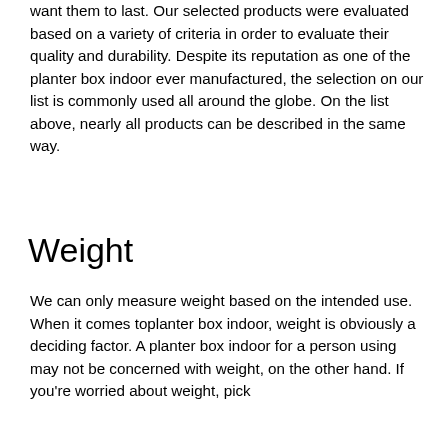want them to last. Our selected products were evaluated based on a variety of criteria in order to evaluate their quality and durability. Despite its reputation as one of the planter box indoor ever manufactured, the selection on our list is commonly used all around the globe. On the list above, nearly all products can be described in the same way.
Weight
We can only measure weight based on the intended use. When it comes toplanter box indoor, weight is obviously a deciding factor. A planter box indoor for a person using may not be concerned with weight, on the other hand. If you're worried about weight, pick